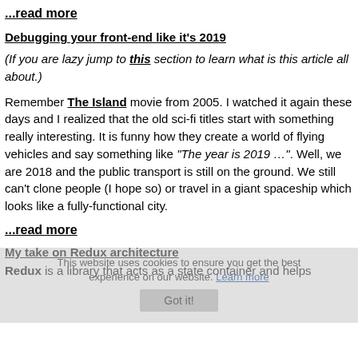...read more
Debugging your front-end like it's 2019
(If you are lazy jump to this section to learn what is this article all about.)
Remember The Island movie from 2005. I watched it again these days and I realized that the old sci-fi titles start with something really interesting. It is funny how they create a world of flying vehicles and say something like "The year is 2019 …". Well, we are 2018 and the public transport is still on the ground. We still can't clone people (I hope so) or travel in a giant spaceship which looks like a fully-functional city.
...read more
My take on Redux architecture
Redux is a library that acts as a state container and helps